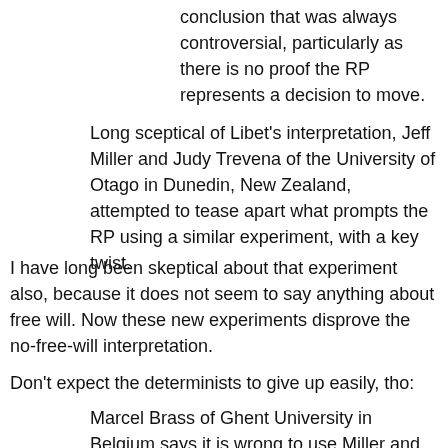conclusion that was always controversial, particularly as there is no proof the RP represents a decision to move.
Long sceptical of Libet's interpretation, Jeff Miller and Judy Trevena of the University of Otago in Dunedin, New Zealand, attempted to tease apart what prompts the RP using a similar experiment, with a key twist.
I have long been skeptical about that experiment also, because it does not seem to say anything about free will. Now these new experiments disprove the no-free-will interpretation.
Don't expect the determinists to give up easily, tho:
Marcel Brass of Ghent University in Belgium says it is wrong to use Miller and Trevena's results to reinterpret Libet's experiment, in which volunteers were not prompted to make a decision. The audio tone "changes the paradigm", so the two can't be compared, he says.